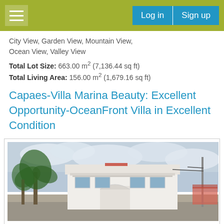Log in  Sign up
City View, Garden View, Mountain View, Ocean View, Valley View
Total Lot Size:  663.00 m² (7,136.44 sq ft)
Total Living Area:  156.00 m² (1,679.16 sq ft)
Capaes-Villa Marina Beauty: Excellent Opportunity-OceanFront Villa in Excellent Condition
[Figure (photo): Exterior photo of a white oceanfront villa with palm trees in foreground, cloudy sky, and street visible]